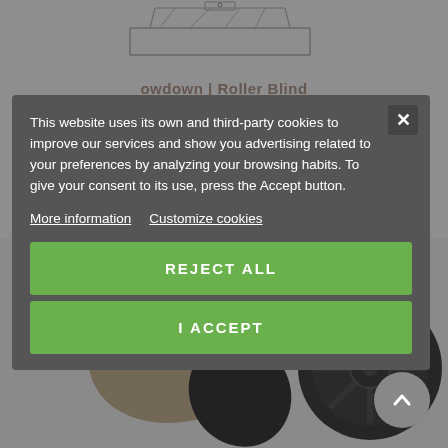[Figure (screenshot): Product image visible behind cookie consent modal - appears to be a roller blind / window blind adapter component. Top shows line-drawing style sketch of the product. Bottom shows a cylindrical black plastic component.]
[Figure (other): Cookie consent modal dialog with dark grey background. Contains text about cookie usage, links for 'More information' and 'Customize cookies', and two green buttons: 'REJECT ALL' and 'I ACCEPT'. Close (X) button in top right corner.]
This website uses its own and third-party cookies to improve our services and show you advertising related to your preferences by analyzing your browsing habits. To give your consent to its use, press the Accept button.
More information   Customize cookies
REJECT ALL
I ACCEPT